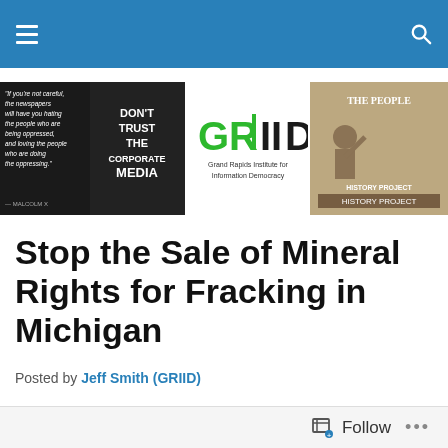Navigation bar with hamburger menu and search icon
[Figure (screenshot): Website banner with Malcolm X quote image, GRIID logo (Grand Rapids Institute for Information Democracy), and The People history project image]
Stop the Sale of Mineral Rights for Fracking in Michigan
Posted by Jeff Smith (GRIID)
On Thursday, September 13th there will be a meeting of the Natural Resources Commission where the parcels of land being leased at the October 24th land auction will be discussed.
Follow